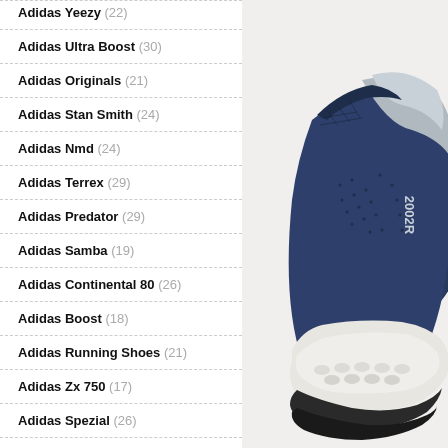Adidas Yeezy (22)
Adidas Ultra Boost (30)
Adidas Originals (21)
Adidas Stan Smith (24)
Adidas Nmd (24)
Adidas Terrex (29)
Adidas Predator (29)
Adidas Samba (19)
Adidas Continental 80 (26)
Adidas Boost (18)
Adidas Running Shoes (21)
Adidas Zx 750 (17)
Adidas Spezial (26)
Adidas Nizza (23)
Adidas La Trainer (21)
Adidas Gazelle Mens (23)
[Figure (photo): Close-up rear view of a navy blue and silver Adidas sneaker (Adidas 2000s/Boost model) on white background, showing heel counter with Adidas '2000s' branding, white midsole, and dark outsole]